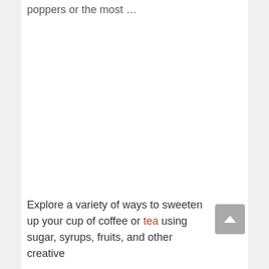poppers or the most …
Explore a variety of ways to sweeten up your cup of coffee or tea using sugar, syrups, fruits, and other creative